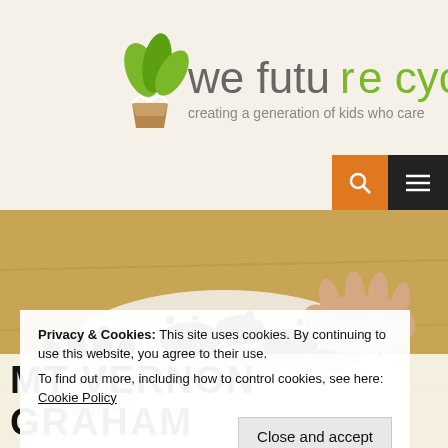[Figure (logo): We Future Cycle logo — green plant sprouting from brown pot, text 'we future cycle' in gray/green, tagline 'creating a generation of kids who care']
[Figure (photo): Close-up photo of children's hands sorting dark soil/compost with worms on white paper towel on a wooden surface]
Privacy & Cookies: This site uses cookies. By continuing to use this website, you agree to their use.
To find out more, including how to control cookies, see here: Cookie Policy
Close and accept
MT VERNON GRAHAM